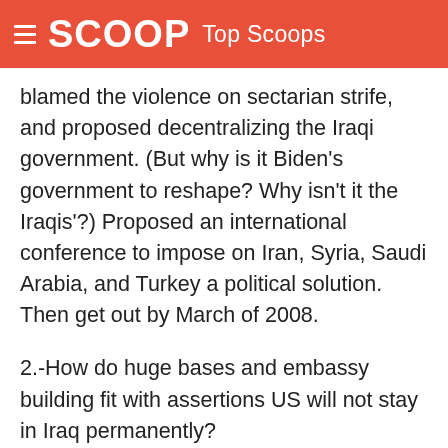SCOOP Top Scoops
blamed the violence on sectarian strife, and proposed decentralizing the Iraqi government. (But why is it Biden's government to reshape? Why isn't it the Iraqis'?) Proposed an international conference to impose on Iran, Syria, Saudi Arabia, and Turkey a political solution. Then get out by March of 2008.
2.-How do huge bases and embassy building fit with assertions US will not stay in Iraq permanently? I introduced bill over and over to ban permanent US bases in Iraq.
3.-Iraq Study Group says Iraqi police cannot control crime, but terror in it; US is on ongoing combat missions